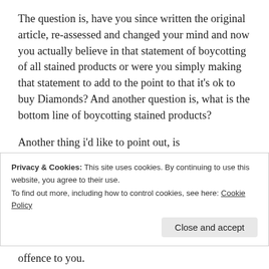The question is, have you since written the original article, re-assessed and changed your mind and now you actually believe in that statement of boycotting of all stained products or were you simply making that statement to add to the point to that it's ok to buy Diamonds? And another question is, what is the bottom line of boycotting stained products?
Another thing i'd like to point out, is
Privacy & Cookies: This site uses cookies. By continuing to use this website, you agree to their use.
To find out more, including how to control cookies, see here: Cookie Policy
offence to you.